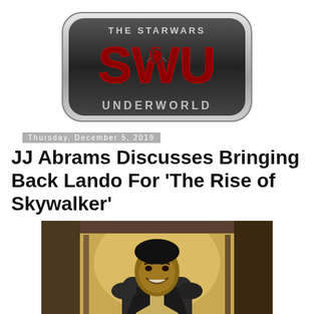[Figure (logo): The Star Wars Underworld logo — metallic rounded rectangle badge with large red SWU letters and 'UNDERWORLD' text at bottom, 'THE STARWARS' text at top]
Thursday, December 5, 2019
JJ Abrams Discusses Bringing Back Lando For 'The Rise of Skywalker'
[Figure (photo): A smiling man (Billy Dee Williams as Lando Calrissian) standing in a doorway with warm interior lighting, wearing a dark jacket with a light-colored inner garment]